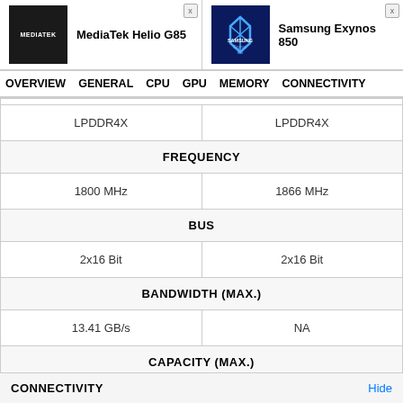MediaTek Helio G85 | Samsung Exynos 850
OVERVIEW  GENERAL  CPU  GPU  MEMORY  CONNECTIVITY
| MediaTek Helio G85 | Samsung Exynos 850 |
| --- | --- |
| LPDDR4X | LPDDR4X |
| FREQUENCY | FREQUENCY |
| 1800 MHz | 1866 MHz |
| BUS | BUS |
| 2x16 Bit | 2x16 Bit |
| BANDWIDTH (MAX.) | BANDWIDTH (MAX.) |
| 13.41 GB/s | NA |
| CAPACITY (MAX.) | CAPACITY (MAX.) |
| 8 GB | 8 GB |
CONNECTIVITY